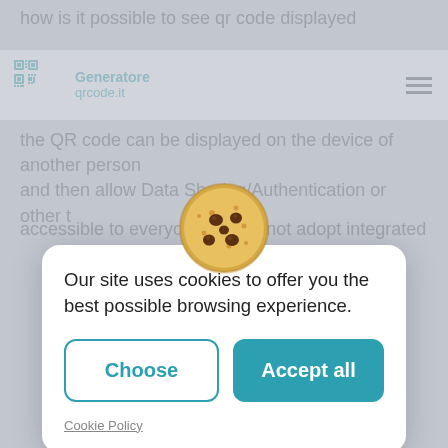[Figure (screenshot): Website background showing Generatore qrcode.it logo and navigation bar with hamburger menu, with blurred page text visible]
[Figure (illustration): Cookie emoji illustration — round golden-brown cookie with chocolate chips]
Our site uses cookies to offer you the best possible browsing experience.
Choose
Accept all
Cookie Policy